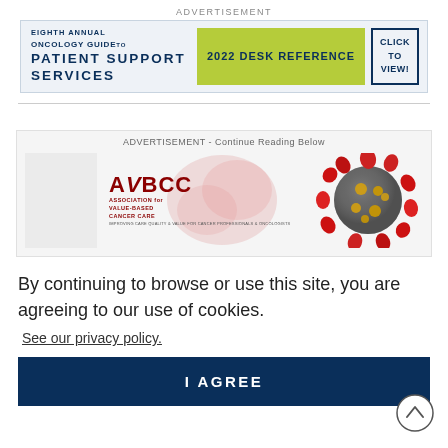ADVERTISEMENT
[Figure (infographic): Advertisement banner for Eighth Annual Oncology Guide to Patient Support Services 2022 Desk Reference with CLICK TO VIEW button]
[Figure (infographic): ADVERTISEMENT - Continue Reading Below. AVBCC (Association for Value-Based Cancer Care) logo with virus/coronavirus image on right side.]
By continuing to browse or use this site, you are agreeing to our use of cookies.
See our privacy policy.
I AGREE